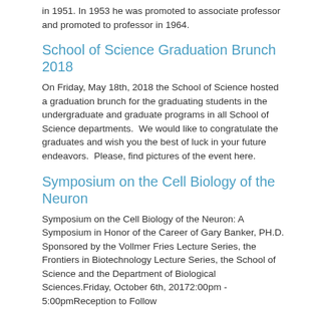in 1951. In 1953 he was promoted to associate professor and promoted to professor in 1964.
School of Science Graduation Brunch 2018
On Friday, May 18th, 2018 the School of Science hosted a graduation brunch for the graduating students in the undergraduate and graduate programs in all School of Science departments.  We would like to congratulate the graduates and wish you the best of luck in your future endeavors.  Please, find pictures of the event here.
Symposium on the Cell Biology of the Neuron
Symposium on the Cell Biology of the Neuron: A Symposium in Honor of the Career of Gary Banker, PH.D. Sponsored by the Vollmer Fries Lecture Series, the Frontiers in Biotechnology Lecture Series, the School of Science and the Department of Biological Sciences.Friday, October 6th, 20172:00pm - 5:00pmReception to Follow
School of Science Advising Hub (The Hub) -